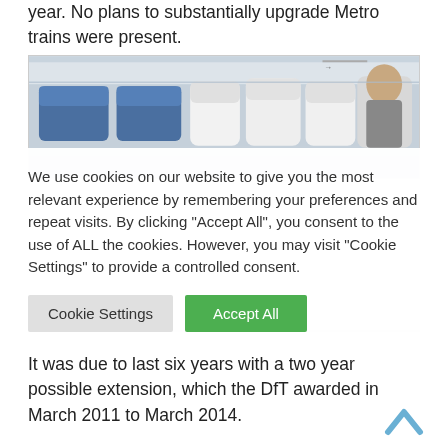year. No plans to substantially upgrade Metro trains were present.
[Figure (photo): Interior of a Metro train showing passenger seating — grey/white seat backs in rows]
We use cookies on our website to give you the most relevant experience by remembering your preferences and repeat visits. By clicking "Accept All", you consent to the use of ALL the cookies. However, you may visit "Cookie Settings" to provide a controlled consent.
It was due to last six years with a two year possible extension, which the DfT awarded in March 2011 to March 2014.